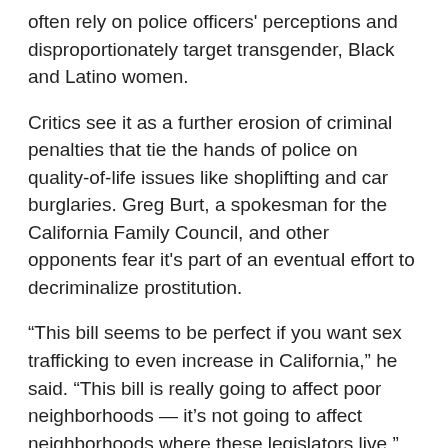often rely on police officers' perceptions and disproportionately target transgender, Black and Latino women.
Critics see it as a further erosion of criminal penalties that tie the hands of police on quality-of-life issues like shoplifting and car burglaries. Greg Burt, a spokesman for the California Family Council, and other opponents fear it's part of an eventual effort to decriminalize prostitution.
“This bill seems to be perfect if you want sex trafficking to even increase in California,” he said. “This bill is really going to affect poor neighborhoods — it’s not going to affect neighborhoods where these legislators live.”
The bill would not decriminalize soliciting or engaging in sex work. It would allow those who were previously convicted or are currently serving loitering sentences to ask a court to dismiss and seal the record of the conviction.